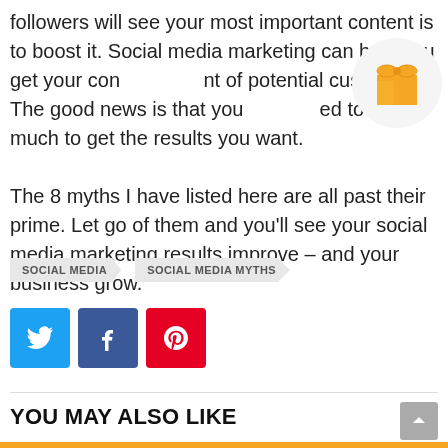followers will see your most important content is to boost it. Social media marketing can help you get your content in front of potential customers. The good news is that you don't need to spend much to get the results you want.

The 8 myths I have listed here are all past their prime. Let go of them and you'll see your social media marketing results improve – and your business grow.
[Figure (illustration): Gift box emoji icon — orange/yellow gift box with ribbon on a light gray circular background]
SOCIAL MEDIA
SOCIAL MEDIA MYTHS
[Figure (infographic): Three social share buttons: Twitter (blue), Facebook (dark blue), Pinterest (red)]
YOU MAY ALSO LIKE